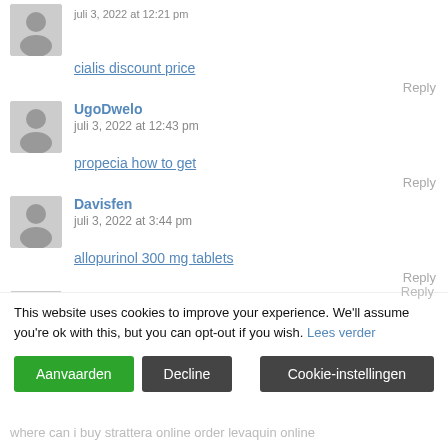cialis discount price
Reply
UgoDwelo
juli 3, 2022 at 12:43 pm
propecia how to get
Reply
Davisfen
juli 3, 2022 at 3:44 pm
allopurinol 300 mg tablets
Reply
Michaeldiomb
juli 3, 2022 at 4:56 pm
atarax 50 mg tablet price
This website uses cookies to improve your experience. We'll assume you're ok with this, but you can opt-out if you wish. Lees verder
Reply
where can i buy strattera online order levaquin online